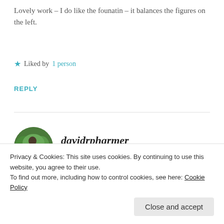Lovely work – I do like the founatin – it balances the figures on the left.
★ Liked by 1 person
REPLY
davidrpharmer
FEBRUARY 19, 2021 AT 1:40 PM
Thank you Emma I was a bit worried about
Privacy & Cookies: This site uses cookies. By continuing to use this website, you agree to their use.
To find out more, including how to control cookies, see here: Cookie Policy
Close and accept
★ Liked by 1 person